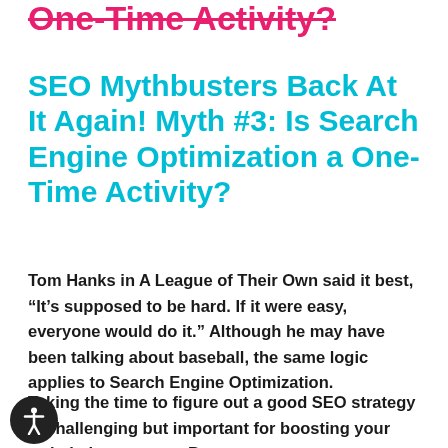One-Time Activity?
SEO Mythbusters Back At It Again! Myth #3: Is Search Engine Optimization a One-Time Activity?
Tom Hanks in A League of Their Own said it best, “It’s supposed to be hard. If it were easy, everyone would do it.” Although he may have been talking about baseball, the same logic applies to Search Engine Optimization.
Taking the time to figure out a good SEO strategy is challenging but important for boosting your website’s presence. But once